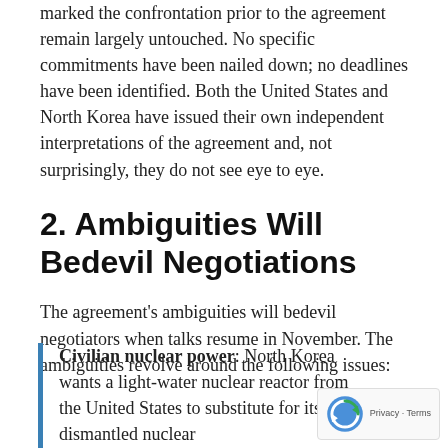marked the confrontation prior to the agreement remain largely untouched. No specific commitments have been nailed down; no deadlines have been identified. Both the United States and North Korea have issued their own independent interpretations of the agreement and, not surprisingly, they do not see eye to eye.
2. Ambiguities Will Bedevil Negotiations
The agreement's ambiguities will bedevil negotiators when talks resume in November. The ambiguities revolve around the following issues:
Civilian nuclear power: North Korea wants a light-water nuclear reactor from the United States to substitute for its dismantled nuclear